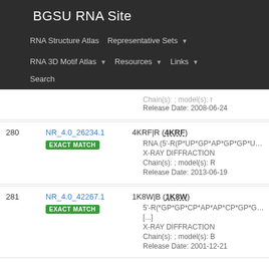BGSU RNA Site
RNA Structure Atlas | Representative Sets | RNA 3D Motif Atlas | Resources | Links | Search
| # | ID | Details |
| --- | --- | --- |
|  |  | Chain(s): ; model(s): r | Release Date: 2008-06-24 |
| 280 | NR_4.0_26234.1 EXACT MATCH | 4KRF|R (4KRF) • RNA (5'-R(P*UP*GP*AP*GP*GP*UP*AP*GP*UP*A... • X-RAY DIFFRACTION • Chain(s): ; model(s): R • Release Date: 2013-06-19 |
| 281 | NR_4.0_42267.1 EXACT MATCH | 1K8W|B (1K8W) • 5'-R(*GP*GP*CP*AP*AP*CP*GP*GP*UP*(... [...] • X-RAY DIFFRACTION • Chain(s): ; model(s): B • Release Date: 2001-12-21 |